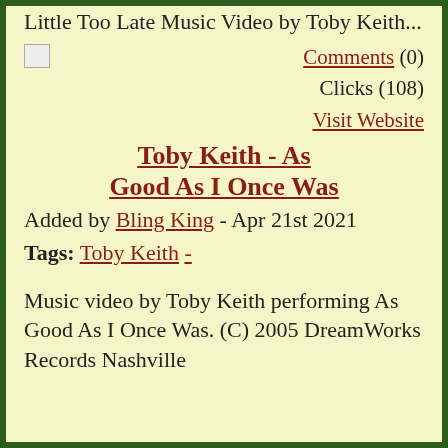Little Too Late Music Video by Toby Keith...
Comments (0)
Clicks (108)
Visit Website
Toby Keith - As Good As I Once Was
Added by Bling King - Apr 21st 2021
Tags: Toby Keith -
Music video by Toby Keith performing As Good As I Once Was. (C) 2005 DreamWorks Records Nashville